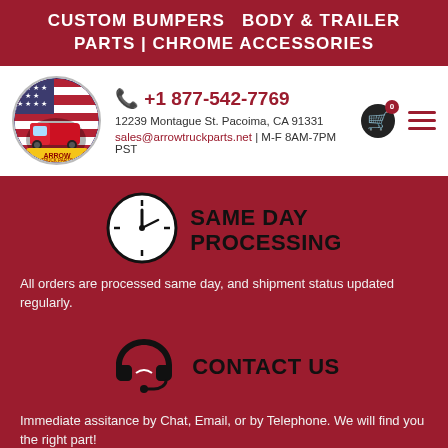CUSTOM BUMPERS  BODY & TRAILER PARTS | CHROME ACCESSORIES
[Figure (logo): Arrow Truck Parts circular logo with American flag background and red semi truck]
+1 877-542-7769
12239 Montague St. Pacoima, CA 91331
sales@arrowtruckparts.net | M-F 8AM-7PM PST
[Figure (illustration): Clock icon representing same day processing]
SAME DAY PROCESSING
All orders are processed same day, and shipment status updated regularly.
[Figure (illustration): Headset/contact icon representing contact us]
CONTACT US
Immediate assitance by Chat, Email, or by Telephone. We will find you the right part!